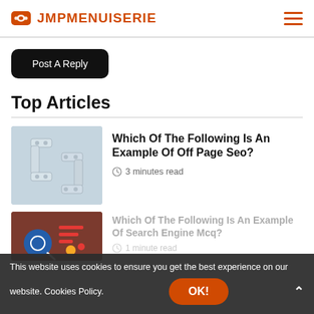JMPMENUISERIE
Post A Reply
Top Articles
[Figure (illustration): 3D metallic letter S/Z bracket connector shapes in light gray/silver on a light blue background]
Which Of The Following Is An Example Of Off Page Seo?
3 minutes read
[Figure (illustration): SEO-related infographic or chart illustration with magnifying glass and data charts on dark red/brown background]
Engine Mcq?
1 minute read
This website uses cookies to ensure you get the best experience on our website. Cookies Policy.
OK!